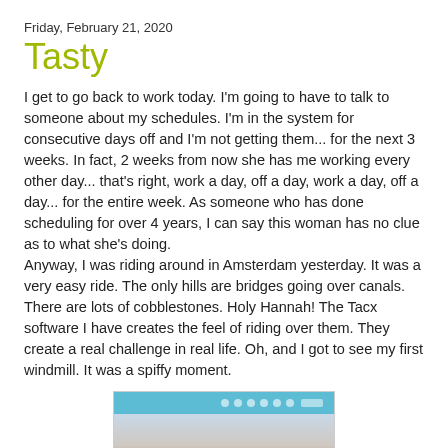Friday, February 21, 2020
Tasty
I get to go back to work today.  I'm going to have to talk to someone about my schedules.   I'm in the system for consecutive days off and I'm not getting them... for the next 3 weeks.  In fact, 2 weeks from now she has me working every other day... that's right, work a day, off a day, work a day, off a day... for the entire week.  As someone who has done scheduling for over 4 years, I can say this woman has no clue as to what she's doing.
Anyway, I was riding around in Amsterdam yesterday.  It was a very easy ride.  The only hills are bridges going over canals.  There are lots of cobblestones.  Holy Hannah!  The Tacx software I have creates the feel of riding over them.  They create a real challenge in real life.  Oh, and I got to see my first windmill.  It was a spiffy moment.
[Figure (screenshot): Screenshot of a cycling software application showing Amsterdam ride, with a blue toolbar at the top containing icons and a landscape/sky view below.]